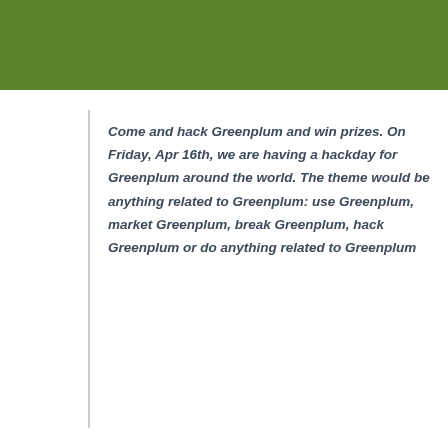[Figure (other): Green rectangular header banner]
Come and hack Greenplum and win prizes. On Friday, Apr 16th, we are having a hackday for Greenplum around the world. The theme would be anything related to Greenplum: use Greenplum, market Greenplum, break Greenplum, hack Greenplum or do anything related to Greenplum